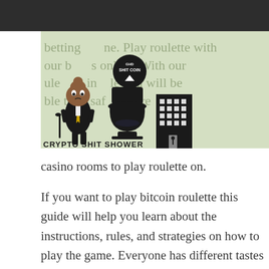[Figure (logo): Crypto Shit Shower logo featuring a cartoon poop character in a suit, a toilet with 'Shit Coin' token, and a building, with text 'CRYPTO SHIT SHOWER' at the bottom. Overlaid on a light green background with partially visible text about betting and roulette.]
betting [logo]. Play roulette with your b[itc]oins online. With our roulette[coin g]uide you will be [a]ble to [find] safe and secure casino rooms to play roulette on. If you want to play bitcoin roulette this guide will help you learn about the instructions, rules, and strategies on how to play the game. Everyone has different tastes when it comes to